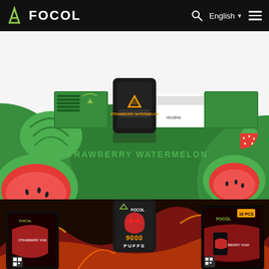FOCOL — English navigation bar with search and menu
[Figure (photo): Focol Big Bang vape product packaging — Strawberry Watermelon flavor. Top section shows green product boxes and a black vape device labeled Strawberry Watermelon, with watermelon slices and strawberries on a green wave background.]
STRAWBERRY WATERMELON
[Figure (photo): Focol 9000 Puffs vape device and packaging — Strawberry flavor. Black and red product design with the device prominently showing 9000 PUFFS text, on a fiery dark background.]